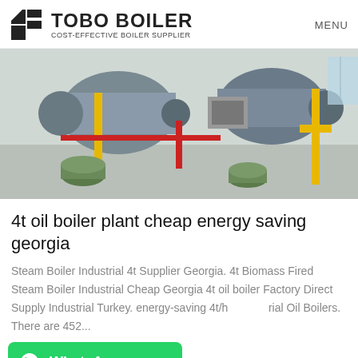TOBO BOILER COST-EFFECTIVE BOILER SUPPLIER | MENU
[Figure (photo): Industrial boiler plant equipment — large cylindrical boilers with yellow piping and gas fittings in an industrial facility]
4t oil boiler plant cheap energy saving georgia
Steam Boiler Industrial 4t Supplier Georgia. 4t Biomass Fired Steam Boiler Industrial Cheap Georgia 4t oil boiler Factory Direct Supply Industrial Turkey. energy-saving 4t/h trial Oil Boilers. There are 452...